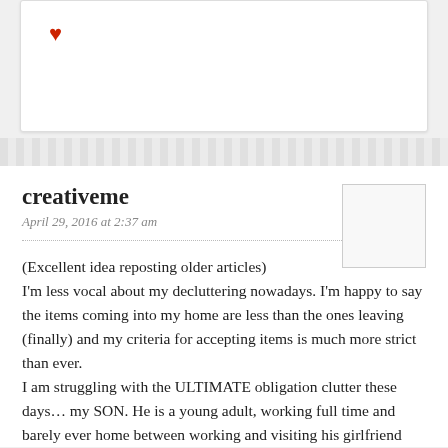[Figure (other): White card with a red heart icon in the upper left corner]
creativeme
April 29, 2016 at 2:37 am
(Excellent idea reposting older articles)
I'm less vocal about my decluttering nowadays. I'm happy to say the items coming into my home are less than the ones leaving (finally) and my criteria for accepting items is much more strict than ever.
I am struggling with the ULTIMATE obligation clutter these days… my SON. He is a young adult, working full time and barely ever home between working and visiting his girlfriend